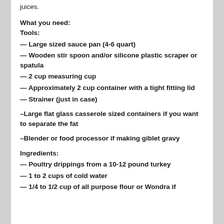juices.
What you need:
Tools:
— Large sized sauce pan (4-6 quart)
— Wooden stir spoon and/or silicone plastic scraper or spatula
— 2 cup measuring cup
— Approximately 2 cup container with a tight fitting lid
— Strainer (just in case)
–Large flat glass casserole sized containers if you want to separate the fat
–Blender or food processor if making giblet gravy
Ingredients:
— Poultry drippings from a 10-12 pound turkey
— 1 to 2 cups of cold water
— 1/4 to 1/2 cup of all purpose flour or Wondra if available